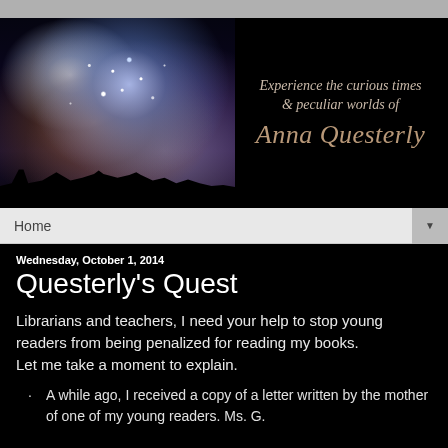[Figure (illustration): Website banner for Anna Questerly. Left half shows a nebula/starry night sky with blue and orange cosmic clouds and silhouettes of buildings at the bottom. Right half has black background with text: 'Experience the curious times & peculiar worlds of Anna Questerly' in serif italic font with brownish-pink coloring.]
Home ▼
Wednesday, October 1, 2014
Questerly's Quest
Librarians and teachers, I need your help to stop young readers from being penalized for reading my books. Let me take a moment to explain.
A while ago, I received a copy of a letter written by the mother of one of my young readers. Ms. G.